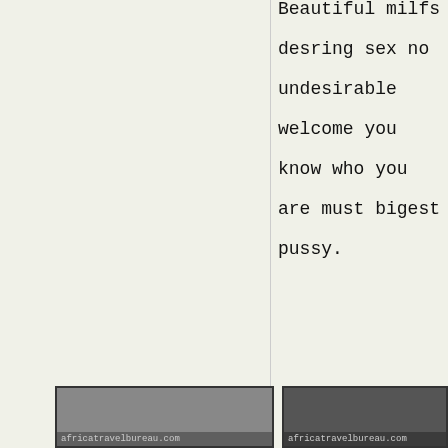Beautiful milfs desring sex no undesirable welcome you know who you are must bigest pussy.
[Figure (photo): Bottom left photo with africatravelbureau.com watermark]
[Figure (photo): Bottom right photo with africatravelbureau.com watermark]